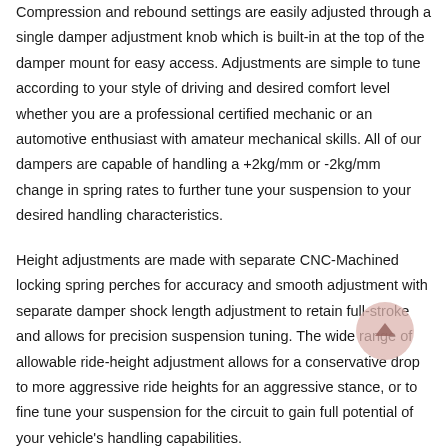Compression and rebound settings are easily adjusted through a single damper adjustment knob which is built-in at the top of the damper mount for easy access. Adjustments are simple to tune according to your style of driving and desired comfort level whether you are a professional certified mechanic or an automotive enthusiast with amateur mechanical skills. All of our dampers are capable of handling a +2kg/mm or -2kg/mm change in spring rates to further tune your suspension to your desired handling characteristics.
Height adjustments are made with separate CNC-Machined locking spring perches for accuracy and smooth adjustment with separate damper shock length adjustment to retain full-stroke and allows for precision suspension tuning. The wide range of allowable ride-height adjustment allows for a conservative drop to more aggressive ride heights for an aggressive stance, or to fine tune your suspension for the circuit to gain full potential of your vehicle's handling capabilities.